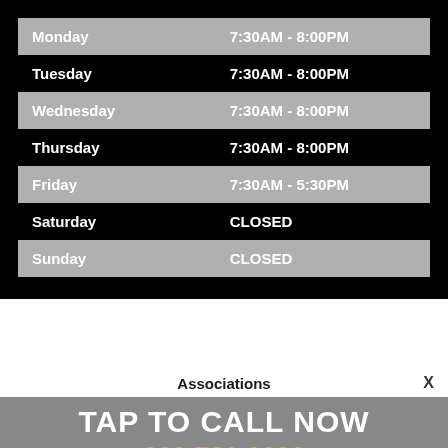| Day | Hours |
| --- | --- |
| Monday | 7:30AM - 8:00PM |
| Tuesday | 7:30AM - 8:00PM |
| Wednesday | 7:30AM - 8:00PM |
| Thursday | 7:30AM - 8:00PM |
| Friday | 7:30AM - 5:30PM |
| Saturday | CLOSED |
| Sunday | CLOSED |
Associations
TAP TO CALL NOW
269-781-9030
[Figure (logo): Auto-Wares Group of Companies logo]
[Figure (logo): Auto Value logo]